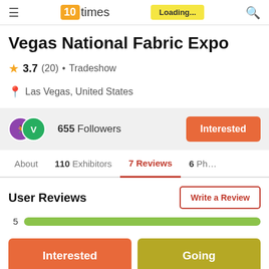10times — Loading...
Vegas National Fabric Expo
3.7 (20) • Tradeshow
Las Vegas, United States
655 Followers
About  110 Exhibitors  7 Reviews  6 Ph…
User Reviews
5 [rating bar]
Interested   Going
Request a Booth